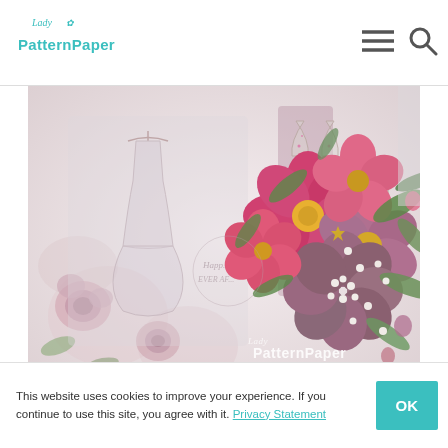Lady PatternPaper — website header with logo and navigation icons
[Figure (photo): Close-up scrapbook layout featuring pink and mauve paper flowers, greenery, pearl embellishments, wooden die-cuts (champagne glasses, wedding dress, vintage car), on a soft floral patterned background. Watermark reads 'Lady PatternPaper' in white text. Wedding/romance theme.]
This website uses cookies to improve your experience. If you continue to use this site, you agree with it. Privacy Statement
OK